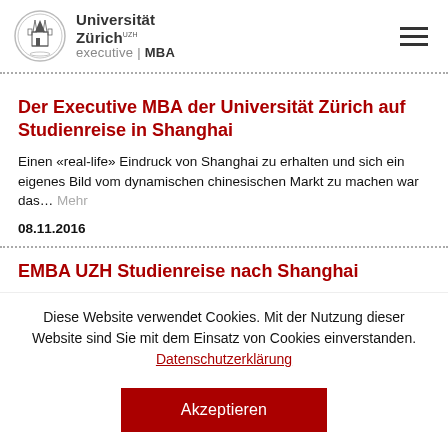Universität Zürich UZH executive | MBA
Der Executive MBA der Universität Zürich auf Studienreise in Shanghai
Einen «real-life» Eindruck von Shanghai zu erhalten und sich ein eigenes Bild vom dynamischen chinesischen Markt zu machen war das… Mehr
08.11.2016
EMBA UZH Studienreise nach Shanghai
Diese Website verwendet Cookies. Mit der Nutzung dieser Website sind Sie mit dem Einsatz von Cookies einverstanden. Datenschutzerklärung
Akzeptieren